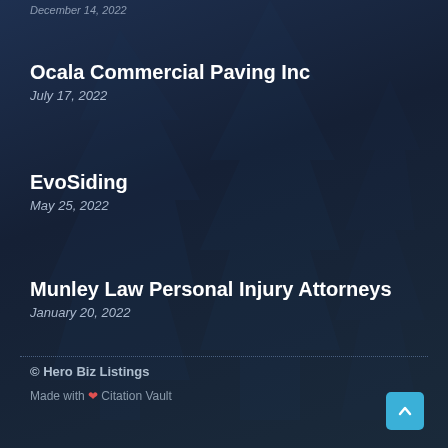December 14, 2022
Ocala Commercial Paving Inc
July 17, 2022
EvoSiding
May 25, 2022
Munley Law Personal Injury Attorneys
January 20, 2022
© Hero Biz Listings
Made with ❤ Citation Vault